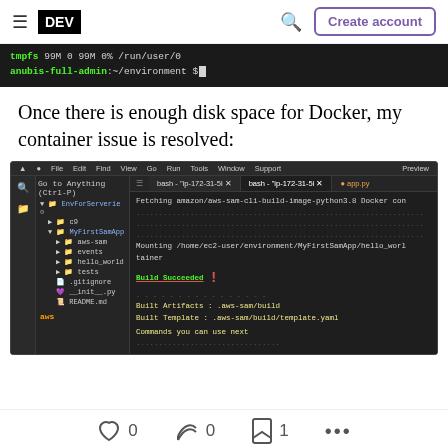DEV | Create account
[Figure (screenshot): Terminal showing tmpfs 99M 0 99M 0% /run/user/0 and anubis-full-admin:~/environment $]
Once there is enough disk space for Docker, my container issue is resolved:
[Figure (screenshot): AWS Cloud9 IDE showing a terminal with Build Succeeded message, Built Artifacts and Built Template paths, and Commands you can use next]
0 likes  0 reactions  1 bookmark  more options